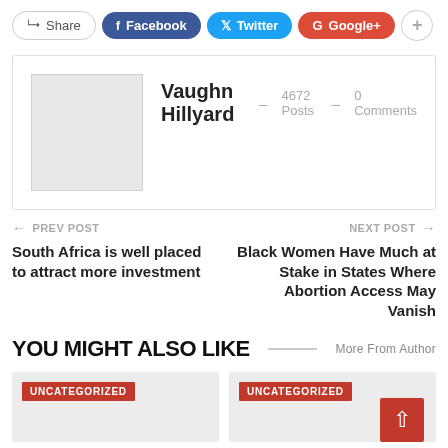[Figure (infographic): Social share buttons: Share, Facebook, Twitter, Google+, and a plus button]
Vaughn Hillyard · 4672 Posts · 0 Comments
← PREV POST
South Africa is well placed to attract more investment
NEXT POST →
Black Women Have Much at Stake in States Where Abortion Access May Vanish
YOU MIGHT ALSO LIKE
More From Author
UNCATEGORIZED
UNCATEGORIZED